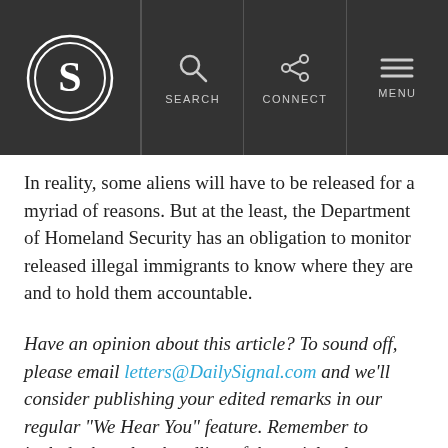[Figure (logo): The Daily Signal logo - circular S emblem in white on dark background with navigation bar showing SEARCH, CONNECT, MENU icons]
In reality, some aliens will have to be released for a myriad of reasons. But at the least, the Department of Homeland Security has an obligation to monitor released illegal immigrants to know where they are and to hold them accountable.
Have an opinion about this article? To sound off, please email letters@DailySignal.com and we'll consider publishing your edited remarks in our regular “We Hear You” feature. Remember to include the url or headline of the article plus your name and town and/or state.
Want to keep up with the 24/7 news cycle? Want